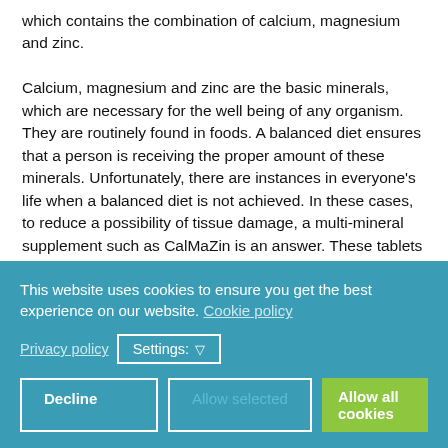which contains the combination of calcium, magnesium and zinc.
Calcium, magnesium and zinc are the basic minerals, which are necessary for the well being of any organism. They are routinely found in foods. A balanced diet ensures that a person is receiving the proper amount of these minerals. Unfortunately, there are instances in everyone's life when a balanced diet is not achieved. In these cases, to reduce a possibility of tissue damage, a multi-mineral supplement such as CalMaZin is an answer. These tablets contain all three minerals in their chemical form and thus ensure that they are well absorbed by the body.
Product SKU: 1317941
This website uses cookies to ensure you get the best experience on our website. Cookie policy
Privacy policy
Settings: ▽
Decline | Allow selected | Allow all cookies